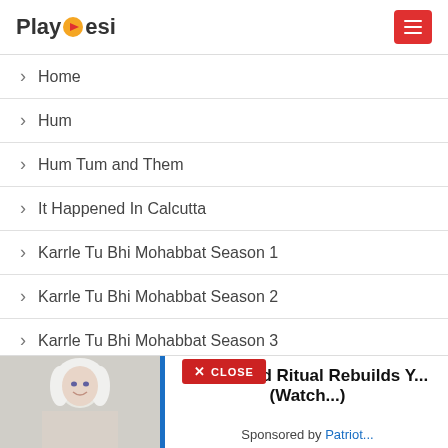PlayDesi
Home
Hum
Hum Tum and Them
It Happened In Calcutta
Karrle Tu Bhi Mohabbat Season 1
Karrle Tu Bhi Mohabbat Season 2
Karrle Tu Bhi Mohabbat Season 3
Kehne Ko Humsafar Hain Season 1
[Figure (screenshot): Advertisement banner at bottom of page showing a woman with white hair, blue vertical bar, and text about 60 Second Ritual with 'X CLOSE' button overlay. Sponsored by Patriot.]
60 Second Ritual Rebuilds Y... (Watch...)
Sponsored by Patriot...